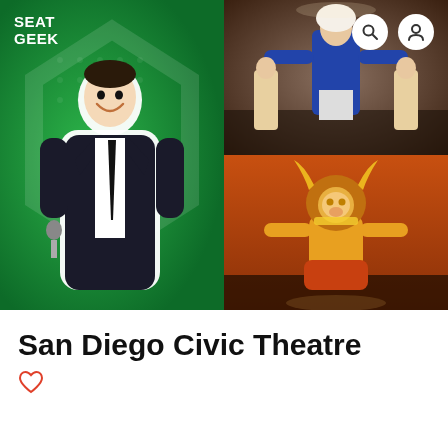[Figure (photo): SeatGeek app screenshot showing a comedian (Jerry Seinfeld) on green background on the left, Hamilton musical cast on upper right, and Lion King musical performer on lower right]
San Diego Civic Theatre
[Figure (logo): Heart/favorite icon in coral/red outline]